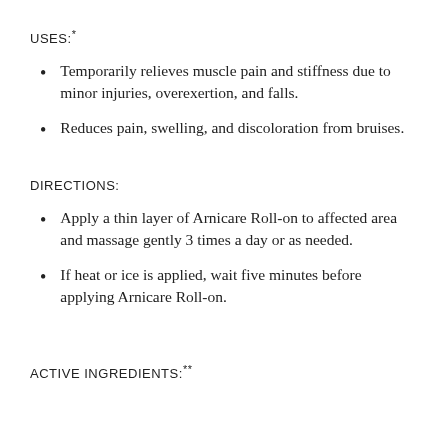USES:*
Temporarily relieves muscle pain and stiffness due to minor injuries, overexertion, and falls.
Reduces pain, swelling, and discoloration from bruises.
DIRECTIONS:
Apply a thin layer of Arnicare Roll-on to affected area and massage gently 3 times a day or as needed.
If heat or ice is applied, wait five minutes before applying Arnicare Roll-on.
ACTIVE INGREDIENTS:**